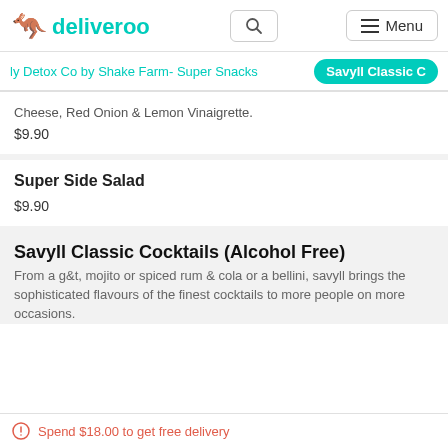deliveroo
ly Detox Co by Shake Farm- Super Snacks | Savyll Classic C
Cheese, Red Onion & Lemon Vinaigrette.
$9.90
Super Side Salad
$9.90
Savyll Classic Cocktails (Alcohol Free)
From a g&t, mojito or spiced rum & cola or a bellini, savyll brings the sophisticated flavours of the finest cocktails to more people on more occasions.
Spend $18.00 to get free delivery